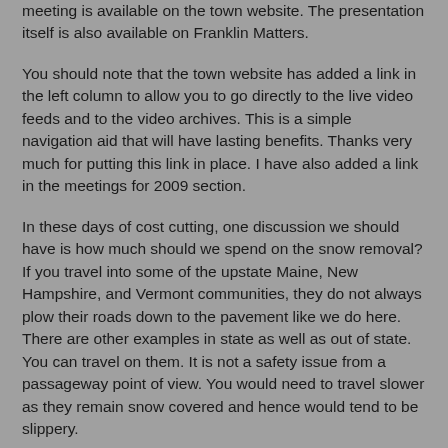meeting is available on the town website. The presentation itself is also available on Franklin Matters.
You should note that the town website has added a link in the left column to allow you to go directly to the live video feeds and to the video archives. This is a simple navigation aid that will have lasting benefits. Thanks very much for putting this link in place. I have also added a link in the meetings for 2009 section.
In these days of cost cutting, one discussion we should have is how much should we spend on the snow removal? If you travel into some of the upstate Maine, New Hampshire, and Vermont communities, they do not always plow their roads down to the pavement like we do here. There are other examples in state as well as out of state. You can travel on them. It is not a safety issue from a passageway point of view. You would need to travel slower as they remain snow covered and hence would tend to be slippery.
The money for salt and labor is effective only for as a short term benefit. Since a million dollars provides the salary and